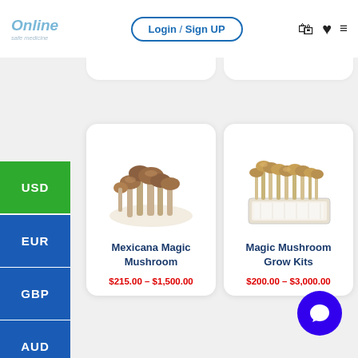Online safe medicine — Login / Sign UP
USD
EUR
GBP
AUD
[Figure (photo): Product card: Mexicana Magic Mushroom, price $215.00 – $1,500.00]
[Figure (photo): Product card: Magic Mushroom Grow Kits, price $200.00 – $3,000.00]